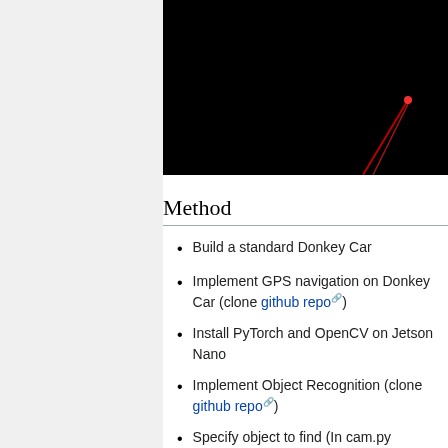[Figure (photo): Dark thumbnail of a video with a red YouTube play button in the top right corner and a red light/laser visible in the lower right portion of the dark image.]
Method
Build a standard Donkey Car
Implement GPS navigation on Donkey Car (clone github repo)
Install PyTorch and OpenCV on Jetson Nano
Implement Object Recognition (clone github repo)
Specify object to find (In cam.py